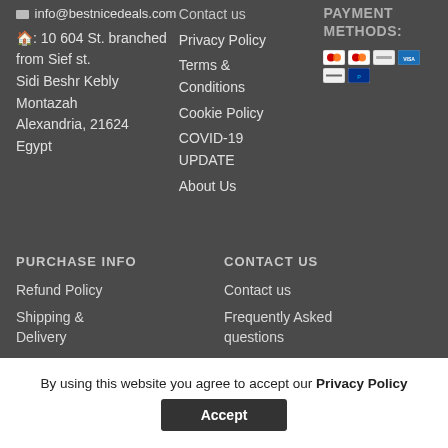info@bestnicedeals.com
🏠: 10 604 St. branched from Sief st. Sidi Beshr Kebly Montazah Alexandria, 21624 Egypt
Contact us
Privacy Policy
Terms & Conditions
Cookie Policy
COVID-19 UPDATE
About Us
PAYMENT METHODS:
[Figure (other): Payment method icons: Visa, Mastercard, and other card logos]
PURCHASE INFO
CONTACT US
Refund Policy
Shipping & Delivery
Contact us
Frequently Asked questions
By using this website you agree to accept our Privacy Policy